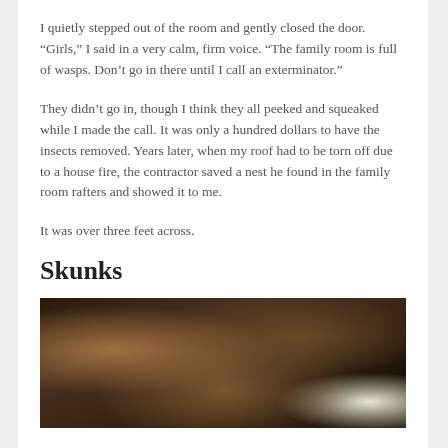I quietly stepped out of the room and gently closed the door. “Girls,” I said in a very calm, firm voice. “The family room is full of wasps. Don’t go in there until I call an exterminator.”
They didn’t go in, though I think they all peeked and squeaked while I made the call. It was only a hundred dollars to have the insects removed. Years later, when my roof had to be torn off due to a house fire, the contractor saved a nest he found in the family room rafters and showed it to me.
It was over three feet across.
Skunks
[Figure (photo): Close-up photograph of what appears to be a dark brown textured surface, possibly a tree stump or nest material, with some lighter fibrous strands visible.]